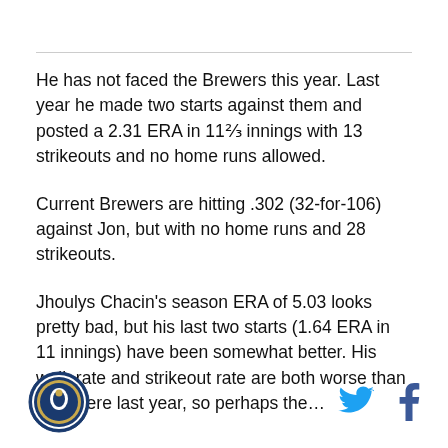He has not faced the Brewers this year. Last year he made two starts against them and posted a 2.31 ERA in 11⅔ innings with 13 strikeouts and no home runs allowed.
Current Brewers are hitting .302 (32-for-106) against Jon, but with no home runs and 28 strikeouts.
Jhoulys Chacin's season ERA of 5.03 looks pretty bad, but his last two starts (1.64 ERA in 11 innings) have been somewhat better. His walk rate and strikeout rate are both worse than they were last year, so perhaps the…
[Figure (logo): Circular logo with blue border and sports team emblem]
[Figure (illustration): Twitter bird icon in blue]
[Figure (illustration): Facebook f icon in dark blue]